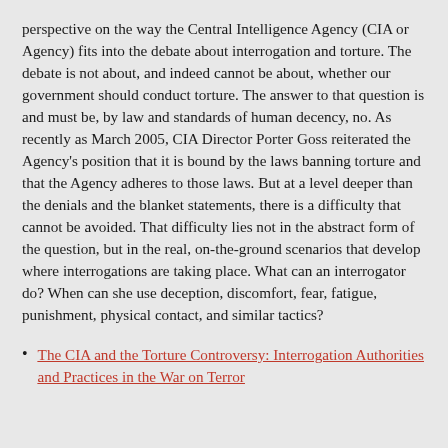perspective on the way the Central Intelligence Agency (CIA or Agency) fits into the debate about interrogation and torture. The debate is not about, and indeed cannot be about, whether our government should conduct torture. The answer to that question is and must be, by law and standards of human decency, no. As recently as March 2005, CIA Director Porter Goss reiterated the Agency's position that it is bound by the laws banning torture and that the Agency adheres to those laws. But at a level deeper than the denials and the blanket statements, there is a difficulty that cannot be avoided. That difficulty lies not in the abstract form of the question, but in the real, on-the-ground scenarios that develop where interrogations are taking place. What can an interrogator do? When can she use deception, discomfort, fear, fatigue, punishment, physical contact, and similar tactics?
The CIA and the Torture Controversy: Interrogation Authorities and Practices in the War on Terror